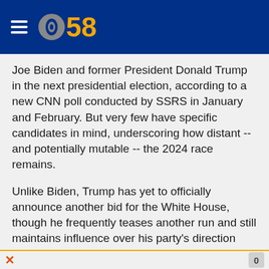CBS 58
Joe Biden and former President Donald Trump in the next presidential election, according to a new CNN poll conducted by SSRS in January and February. But very few have specific candidates in mind, underscoring how distant -- and potentially mutable -- the 2024 race remains.
Unlike Biden, Trump has yet to officially announce another bid for the White House, though he frequently teases another run and still maintains influence over his party's direction more than a year after leaving office.
The-CNN-Wire
™ & © 2022 Cable News Network, Inc., a WarnerMedia Company. All rights reserved.